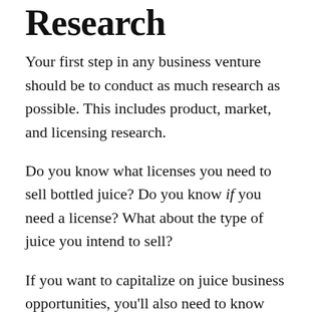Research
Your first step in any business venture should be to conduct as much research as possible. This includes product, market, and licensing research.
Do you know what licenses you need to sell bottled juice? Do you know if you need a license? What about the type of juice you intend to sell?
If you want to capitalize on juice business opportunities, you'll also need to know your market like the back of your hand, and what particular niches your juices can fill.
Step 2: Get Your